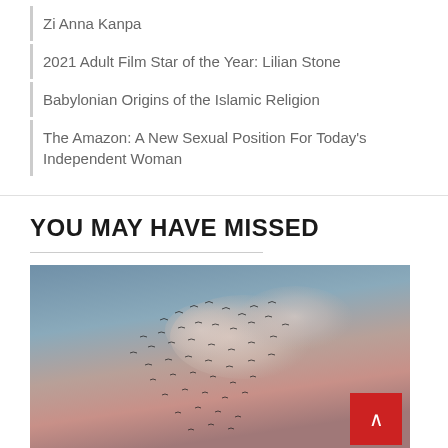Zi Anna Kanpa
2021 Adult Film Star of the Year: Lilian Stone
Babylonian Origins of the Islamic Religion
The Amazon: A New Sexual Position For Today's Independent Woman
YOU MAY HAVE MISSED
[Figure (photo): A flock of birds in flight against a dusky pink and blue sky with soft clouds]